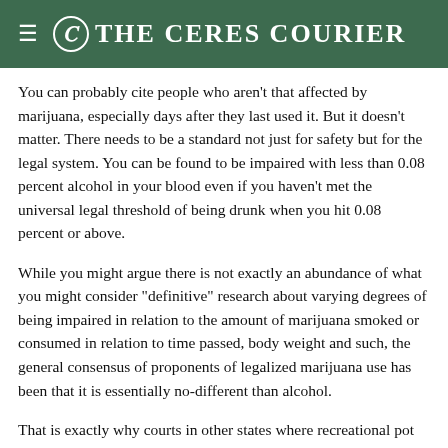The Ceres Courier
You can probably cite people who aren't that affected by marijuana, especially days after they last used it. But it doesn't matter. There needs to be a standard not just for safety but for the legal system. You can be found to be impaired with less than 0.08 percent alcohol in your blood even if you haven't met the universal legal threshold of being drunk when you hit 0.08 percent or above.
While you might argue there is not exactly an abundance of what you might consider "definitive" research about varying degrees of being impaired in relation to the amount of marijuana smoked or consumed in relation to time passed, body weight and such, the general consensus of proponents of legalized marijuana use has been that it is essentially no-different than alcohol.
That is exactly why courts in other states where recreational pot was legal before it was in California. Colorado, as an example